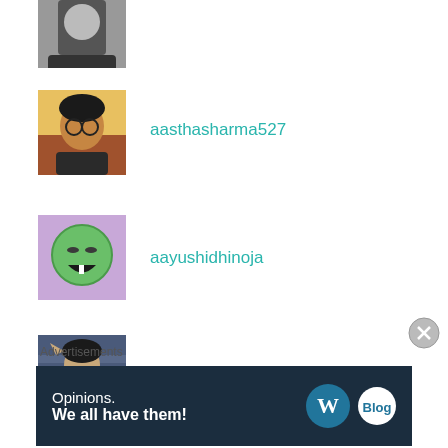[Figure (photo): Partial user avatar at top (cropped)]
aasthasharma527
[Figure (photo): Profile photo of aasthasharma527 - woman with glasses]
aayushidhinoja
[Figure (illustration): Profile avatar of aayushidhinoja - cartoon green smiley face on purple background]
Abhilasha Rai
[Figure (photo): Profile photo of Abhilasha Rai - stylized fantasy character]
abdulbasitkudalkar
[Figure (illustration): Profile avatar of abdulbasitkudalkar - cartoon character with glasses]
Advertisements
[Figure (screenshot): WordPress ad banner: Opinions. We all have them!]